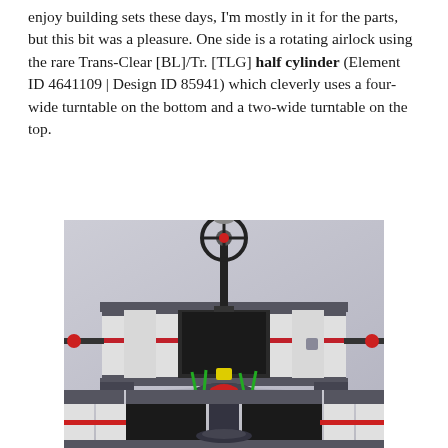enjoy building sets these days, I'm mostly in it for the parts, but this bit was a pleasure. One side is a rotating airlock using the rare Trans-Clear [BL]/Tr. [TLG] half cylinder (Element ID 4641109 | Design ID 85941) which cleverly uses a four-wide turntable on the bottom and a two-wide turntable on the top.
[Figure (photo): A LEGO model of a space station airlock or building, showing white and dark grey bricks arranged as a structure with columns, a tall black pole with a circular dish/wheel at the top, red accents, and small green plant pieces at the base. A dark turntable piece is visible at the bottom center.]
[Figure (photo): A close-up view of the bottom portion of the same LEGO model, showing grey and white bricks, dark grey turntable, and structural details including red stripes.]